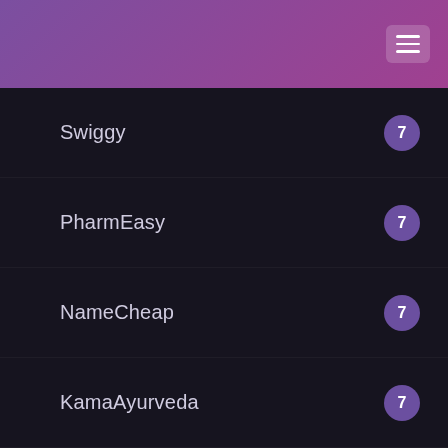Swiggy — 7
PharmEasy — 7
NameCheap — 7
KamaAyurveda — 7
Adidas India — 7
CoolWinks — 7
Crocs — 7
Netmeds — 7
Limeroad — 6
Firstcry — 6